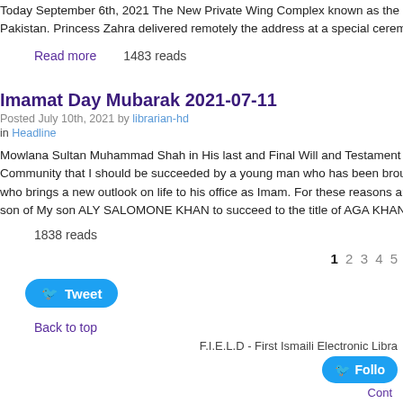Today September 6th, 2021 The New Private Wing Complex known as the Princess... Pakistan. Princess Zahra delivered remotely the address at a special ceremony whic...
Read more   1483 reads
Imamat Day Mubarak 2021-07-11
Posted July 10th, 2021 by librarian-hd in Headline
Mowlana Sultan Muhammad Shah in His last and Final Will and Testament said " I a... Community that I should be succeeded by a young man who has been brought up a... who brings a new outlook on life to his office as Imam. For these reasons and althou... son of My son ALY SALOMONE KHAN to succeed to the title of AGA KHAN and to b...
1838 reads
1 2 3 4 5
Tweet
Back to top
F.I.E.L.D - First Ismaili Electronic Libra...
Follo...
Cont...